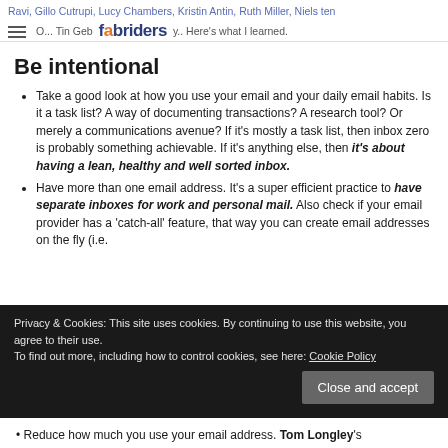Ravi, Gillo Cutrupi, Lucy Chambers, Kristin Antin, Ruth Miller, Niels ten O... Tin Geb... [fabriders logo] ...y.. Here's what I learned.
Be intentional
Take a good look at how you use your email and your daily email habits. Is it a task list? A way of documenting transactions? A research tool? Or merely a communications avenue? If it's mostly a task list, then inbox zero is probably something achievable. If it's anything else, then it's about having a lean, healthy and well sorted inbox.
Have more than one email address. It's a super efficient practice to have separate inboxes for work and personal mail. Also check if your email provider has a 'catch-all' feature, that way you can create email addresses on the fly (i.e.
Privacy & Cookies: This site uses cookies. By continuing to use this website, you agree to their use. To find out more, including how to control cookies, see here: Cookie Policy
Reduce how much you use your email address. Tom Longley's